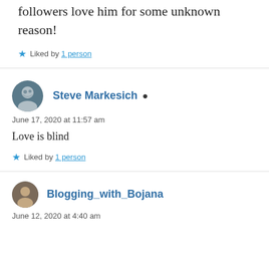followers love him for some unknown reason!
Liked by 1 person
Steve Markesich
June 17, 2020 at 11:57 am
Love is blind
Liked by 1 person
Blogging_with_Bojana
June 12, 2020 at 4:40 am